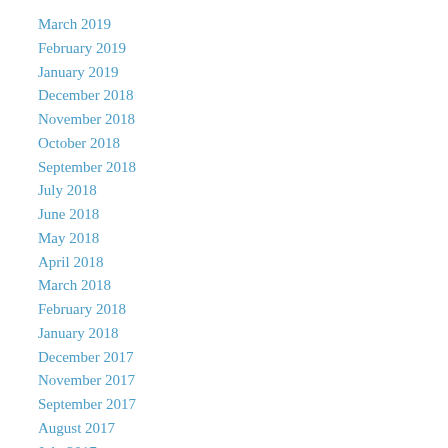March 2019
February 2019
January 2019
December 2018
November 2018
October 2018
September 2018
July 2018
June 2018
May 2018
April 2018
March 2018
February 2018
January 2018
December 2017
November 2017
September 2017
August 2017
July 2017
June 2017